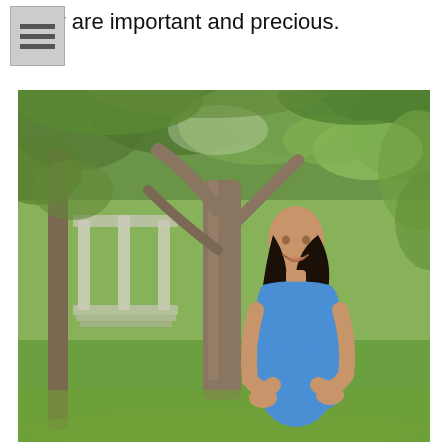baby are important and precious.
[Figure (photo): A smiling pregnant woman in a blue tank top standing outdoors in a park setting with trees and a blurred white gazebo/columns in the background, cradling her baby bump with both hands.]